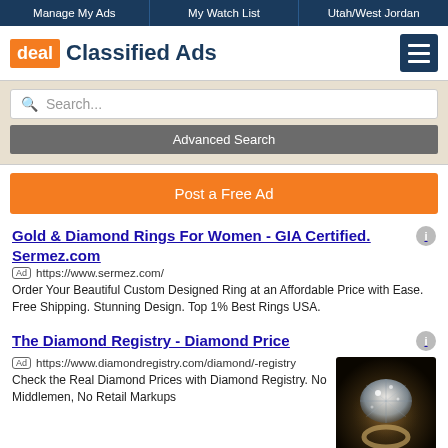Manage My Ads | My Watch List | Utah/West Jordan
[Figure (logo): deal Classified Ads logo with hamburger menu icon]
Search...
Advanced Search
Post a Free Ad
Gold & Diamond Rings For Women - GIA Certified. Sermez.com
Ad https://www.sermez.com/
Order Your Beautiful Custom Designed Ring at an Affordable Price with Ease. Free Shipping. Stunning Design. Top 1% Best Rings USA.
The Diamond Registry - Diamond Price
Ad https://www.diamondregistry.com/diamond/-registry
Check the Real Diamond Prices with Diamond Registry. No Middlemen, No Retail Markups
[Figure (photo): Diamond ring on dark background]